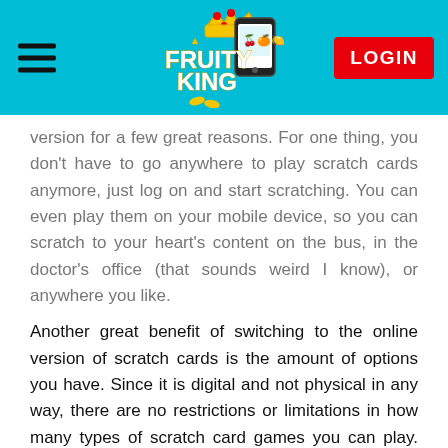Fruity King — LOGIN
version for a few great reasons. For one thing, you don't have to go anywhere to play scratch cards anymore, just log on and start scratching. You can even play them on your mobile device, so you can scratch to your heart's content on the bus, in the doctor's office (that sounds weird I know), or anywhere you like.
Another great benefit of switching to the online version of scratch cards is the amount of options you have. Since it is digital and not physical in any way, there are no restrictions or limitations in how many types of scratch card games you can play. You can even play multiple scratch cards at the same time and, if you are a hard core scratcher, you can click on the accompanying 'reveal all' button to see within a second if you've won anything.